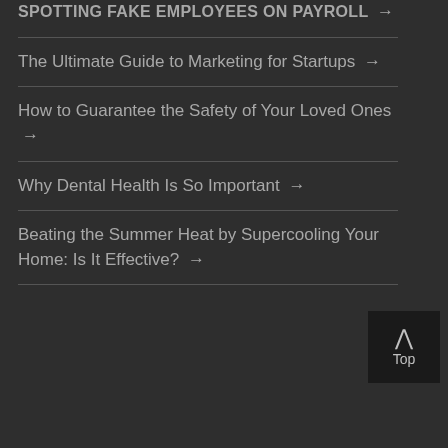SPOTTING FAKE EMPLOYEES ON PAYROLL →
The Ultimate Guide to Marketing for Startups →
How to Guarantee the Safety of Your Loved Ones →
Why Dental Health Is So Important →
Beating the Summer Heat by Supercooling Your Home: Is It Effective? →
Top